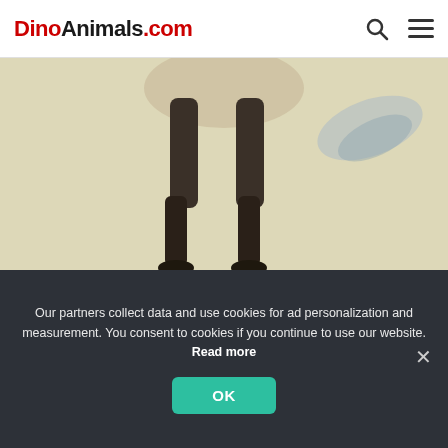DinoAnimals.com
[Figure (illustration): Illustration of Gallimimus bullatus legs and feet on a tan/beige background, showing dark clawed feet of the dinosaur]
Gallimimus bullatus
Gallimimus bullatus
Gallimimus, more than twice the length of today's ostrich, was the largest representative of
Our partners collect data and use cookies for ad personalization and measurement. You consent to cookies if you continue to use our website. Read more